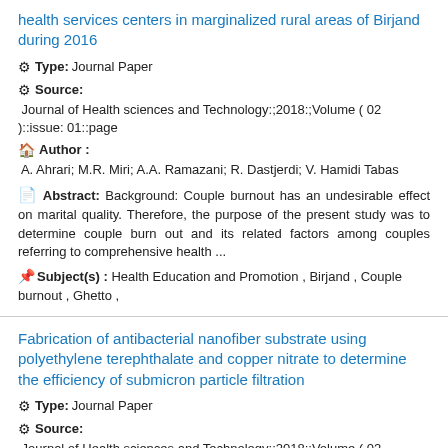health services centers in marginalized rural areas of Birjand during 2016
Type: Journal Paper
Source: Journal of Health sciences and Technology::;2018:;Volume ( 02 )::issue: 01::page
Author : A. Ahrari; M.R. Miri; A.A. Ramazani; R. Dastjerdi; V. Hamidi Tabas
Abstract: Background: Couple burnout has an undesirable effect on marital quality. Therefore, the purpose of the present study was to determine couple burn out and its related factors among couples referring to comprehensive health ...
Subject(s) : Health Education and Promotion , Birjand , Couple burnout , Ghetto ,
Fabrication of antibacterial nanofiber substrate using polyethylene terephthalate and copper nitrate to determine the efficiency of submicron particle filtration
Type: Journal Paper
Source: Journal of Health sciences and Technology::;2018:;Volume ( 02 )::issue: 01::page